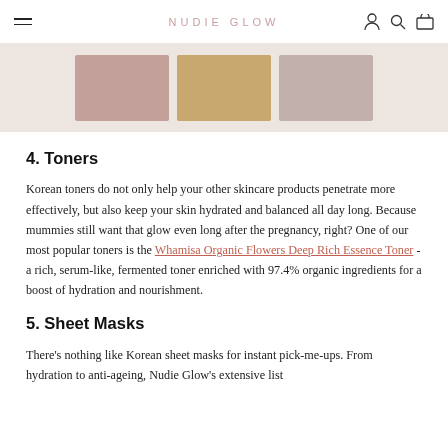NUDIE GLOW
[Figure (photo): Three product thumbnail images side by side showing Korean skincare product swatches in pink/peach tones]
4. Toners
Korean toners do not only help your other skincare products penetrate more effectively, but also keep your skin hydrated and balanced all day long. Because mummies still want that glow even long after the pregnancy, right? One of our most popular toners is the Whamisa Organic Flowers Deep Rich Essence Toner - a rich, serum-like, fermented toner enriched with 97.4% organic ingredients for a boost of hydration and nourishment.
5. Sheet Masks
There's nothing like Korean sheet masks for instant pick-me-ups. From hydration to anti-ageing, Nudie Glow's extensive list